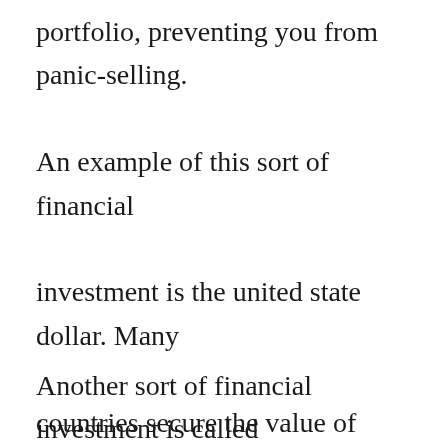portfolio, preventing you from panic-selling. An example of this sort of financial investment is the united state dollar. Many countries secure the value of their currency to the united state buck. While stocks are a sure thing versus rising cost of living, a high portion of bonds are risky investments. Moreover, they often tend to supply lower returns than other asset courses.
Another sort of financial investment is called a blue chip. The term “blue chip” is stemmed